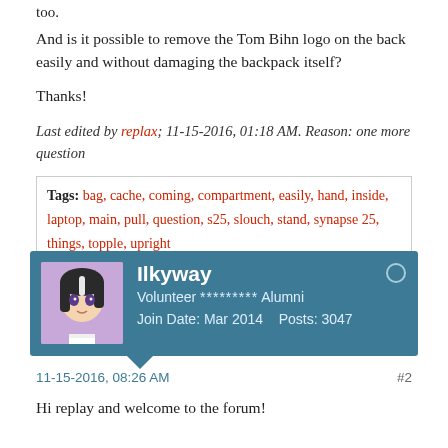too.
And is it possible to remove the Tom Bihn logo on the back easily and without damaging the backpack itself?
Thanks!
Last edited by replax; 11-15-2016, 01:18 AM. Reason: one more question
Tags: bag, cache, coming, compartment, easily, hand, inside, laptop, main, pull, question, s25, slouch, stand, synapse 25, things, topple, upright
Ilkyway
Volunteer ********* Alumni
Join Date: Mar 2014    Posts: 3047
11-15-2016, 08:26 AM
#2
Hi replay and welcome to the forum!
An empty S25 will not stand up on its own. When it is packed it so much depends on the content if it will stand